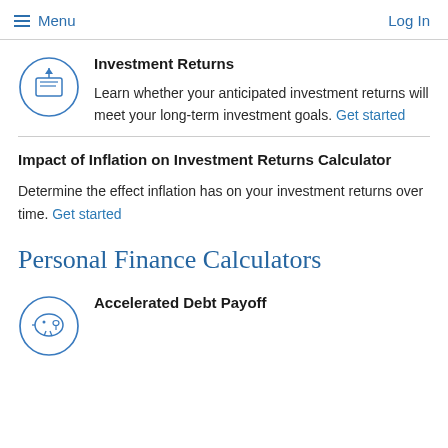Menu  Log In
[Figure (illustration): Circular icon with dollar bill and upward arrow, representing investment returns]
Investment Returns
Learn whether your anticipated investment returns will meet your long-term investment goals. Get started
Impact of Inflation on Investment Returns Calculator
Determine the effect inflation has on your investment returns over time. Get started
Personal Finance Calculators
[Figure (illustration): Circular icon with piggy bank, representing personal finance/debt payoff]
Accelerated Debt Payoff